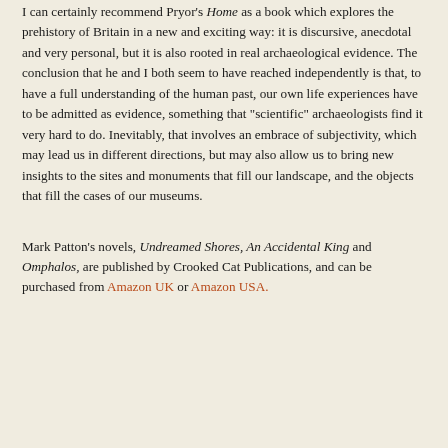I can certainly recommend Pryor's Home as a book which explores the prehistory of Britain in a new and exciting way: it is discursive, anecdotal and very personal, but it is also rooted in real archaeological evidence. The conclusion that he and I both seem to have reached independently is that, to have a full understanding of the human past, our own life experiences have to be admitted as evidence, something that "scientific" archaeologists find it very hard to do. Inevitably, that involves an embrace of subjectivity, which may lead us in different directions, but may also allow us to bring new insights to the sites and monuments that fill our landscape, and the objects that fill the cases of our museums.
Mark Patton's novels, Undreamed Shores, An Accidental King and Omphalos, are published by Crooked Cat Publications, and can be purchased from Amazon UK or Amazon USA.